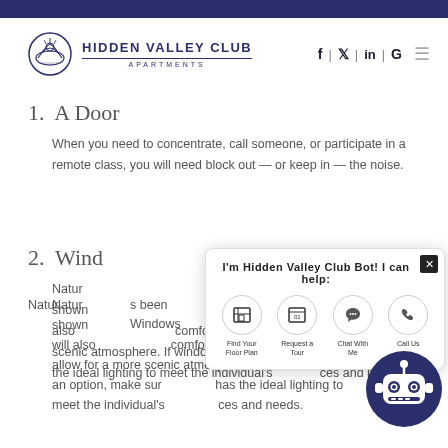HIDDEN VALLEY CLUB APARTMENTS
1. A Door

When you need to concentrate, call someone, or participate in a remote class, you will need block out — or keep in — the noise.
2. Wind...

Natu... s been show... Windows will also... comfortable and simply allow for a more scenic atmosphere. If windows aren't an option, make sur... has the ideal lighting to meet the individual's ... ces and needs.
[Figure (screenshot): Chatbot popup for Hidden Valley Club Bot with four action buttons: Find Your Floor Plan, Request a Tour, Chat With Me, Call Us. A robot avatar appears at the bottom right.]